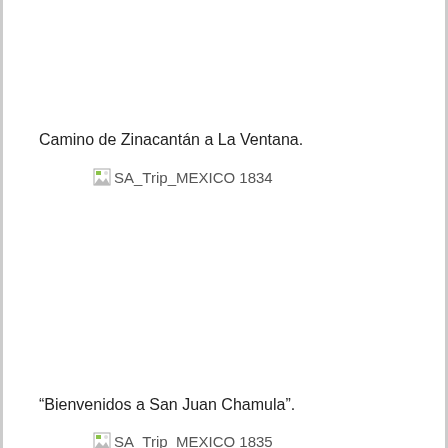Camino de Zinacantán a La Ventana.
[Figure (photo): Broken image placeholder labeled SA_Trip_MEXICO 1834]
“Bienvenidos a San Juan Chamula”.
[Figure (photo): Broken image placeholder labeled SA_Trip_MEXICO 1835]